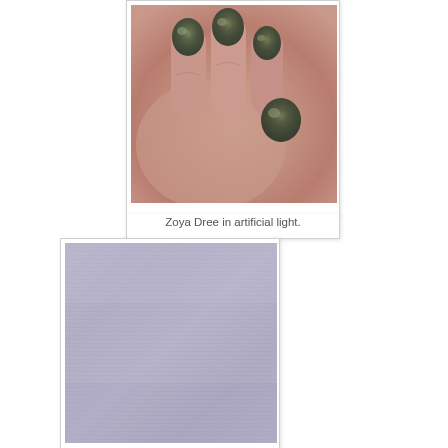[Figure (photo): Close-up photo of a hand with nails painted in Zoya Dree, a dark olive/army green nail polish color, photographed under artificial light.]
Zoya Dree in artificial light.
[Figure (photo): Close-up photo of a fabric or textile with a muted gray-purple/lavender color, showing the woven texture of the material.]